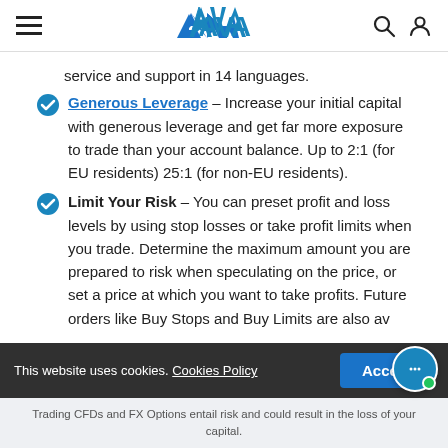AVA [logo with hamburger menu, search, and profile icons]
service and support in 14 languages.
Generous Leverage – Increase your initial capital with generous leverage and get far more exposure to trade than your account balance. Up to 2:1 (for EU residents) 25:1 (for non-EU residents).
Limit Your Risk – You can preset profit and loss levels by using stop losses or take profit limits when you trade. Determine the maximum amount you are prepared to risk when speculating on the price, or set a price at which you want to take profits. Future orders like Buy Stops and Buy Limits are also av
This website uses cookies. Cookies Policy  Accept
Trading CFDs and FX Options entail risk and could result in the loss of your capital.